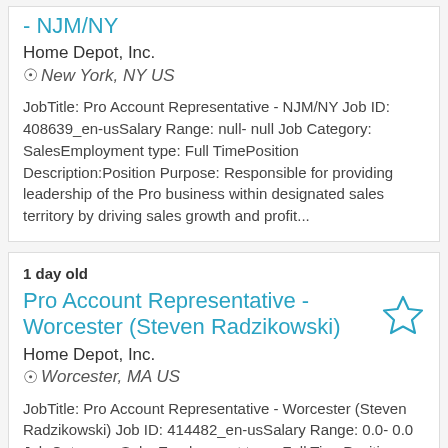Pro Account Representative - NJM/NY
Home Depot, Inc.
New York, NY US
JobTitle: Pro Account Representative - NJM/NY Job ID: 408639_en-usSalary Range: null- null Job Category: SalesEmployment type: Full TimePosition Description:Position Purpose: Responsible for providing leadership of the Pro business within designated sales territory by driving sales growth and profit...
1 day old
Pro Account Representative - Worcester (Steven Radzikowski)
Home Depot, Inc.
Worcester, MA US
JobTitle: Pro Account Representative - Worcester (Steven Radzikowski) Job ID: 414482_en-usSalary Range: 0.0- 0.0 Job Category: SalesEmployment type: Full TimePosition Description:Position Purpose: